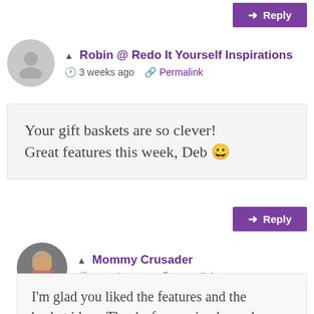Reply
Robin @ Redo It Yourself Inspirations · 3 weeks ago · Permalink
Your gift baskets are so clever! Great features this week, Deb 😀
Reply
Mommy Crusader · 2 weeks ago · Permalink
I'm glad you liked the features and the basket ideas. Thanks for coming by and